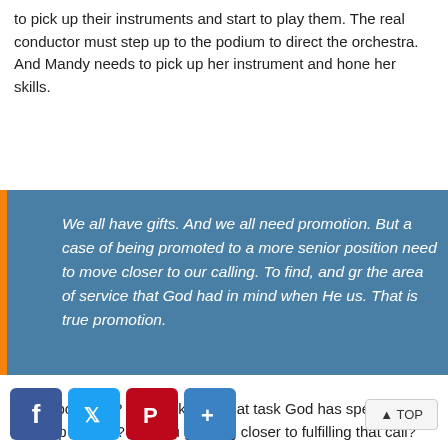to pick up their instruments and start to play them. The real conductor must step up to the podium to direct the orchestra. And Mandy needs to pick up her instrument and hone her skills.
We all have gifts. And we all need promotion. But a case of being promoted to a more senior position need to move closer to our calling. To find, and gr the area of service that God had in mind when He us. That is true promotion.
How about you? Do you know what task God has specially lined up for you? Are you growing closer to fulfilling that call? Are you seeking promotion into the role He has for you? How about sharing with us in the comment section, what God is calling you to do right now?
[Figure (other): Social sharing buttons: Facebook (blue), Twitter (light blue), Pinterest (dark red), and a plus/share button (blue), plus a TOP button on the right.]